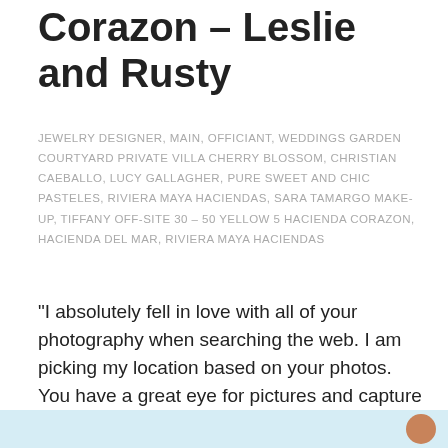Corazon – Leslie and Rusty
JEWELRY DESIGNER, MAIN, OFFICIANT, WEDDINGS GARDEN COURTYARD PRIVATE VILLA CHERRY BLOSSOM, CHRISTIAN CAEBALLO, LUCY GALLAGHER, PURE SWEET AND CHIC PASTELES, RIVIERA MAYA HACIENDAS, SARA TAMARGO MAKE-UP, TIFFANY OFF-SITE 30 – 50 YELLOW 5 HACIENDA CORAZON, HACIENDA DEL MAR, RIVIERA MAYA HACIENDAS
"I absolutely fell in love with all of your photography when searching the web. I am picking my location based on your photos. You have a great eye for pictures and capture moments most photographers cannot. Every picture you take is breath...